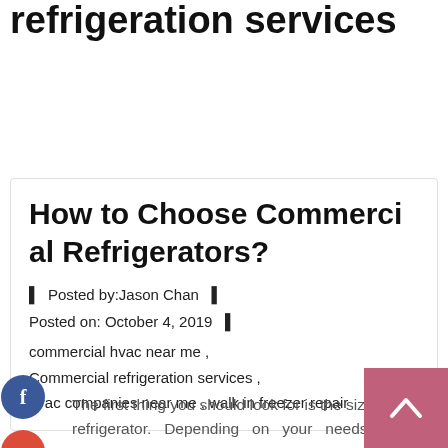refrigeration services
How to Choose Commercial Refrigerators?
Posted by: Jason Chan
Posted on: October 4, 2019
commercial hvac near me , Commercial refrigeration services , hvac companies near me , walk in freezer repair
The first thing you should look for is the size of the refrigerator. Depending on your needs and